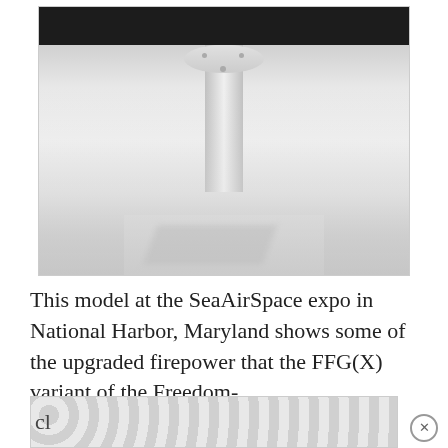[Figure (photo): Close-up photo of a white monitor or display stand on a white surface, showing the pedestal neck, circular joint, and rectangular base. The top portion of the image shows the dark underside of the monitor screen. Shot against a bright white background with subtle shadows.]
This model at the SeaAirSpace expo in National Harbor, Maryland shows some of the upgraded firepower that the FFG(X) variant of the Freedom-cl